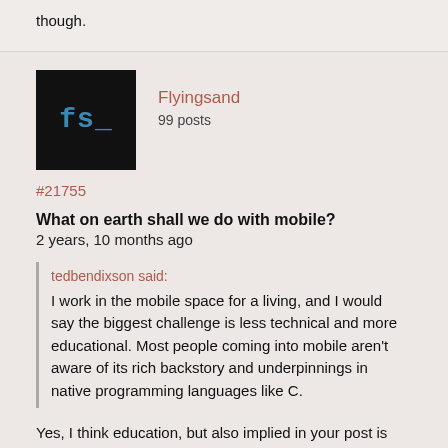though.
Flyingsand
99 posts
#21755
What on earth shall we do with mobile?
2 years, 10 months ago
tedbendixson said:
I work in the mobile space for a living, and I would say the biggest challenge is less technical and more educational. Most people coming into mobile aren't aware of its rich backstory and underpinnings in native programming languages like C.
Yes, I think education, but also implied in your post is attitude.